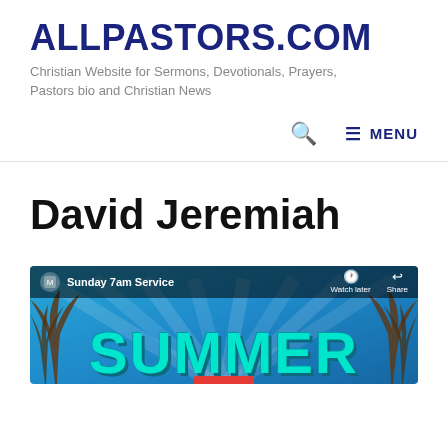ALLPASTORS.COM
Christian Website for Sermons, Devotionals, Prayers, Pastors bio and Christian News
MENU
David Jeremiah
[Figure (screenshot): YouTube-style video thumbnail for a Sunday 7am Service church broadcast showing the word SUMMER in large teal block letters on a tropical blue background with palm trees and sunrays. Top bar shows channel icon 'Sunday 7am Service' with 'Watch later' and 'Share' actions on the right.]